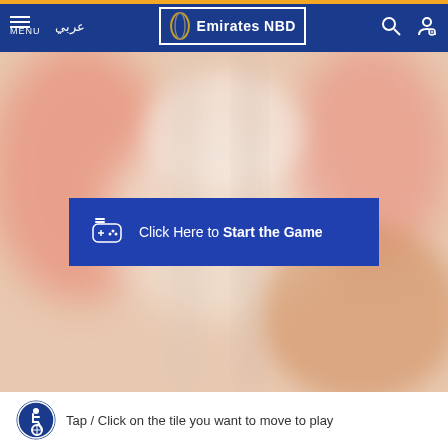Emirates NBD — Navigation bar with menu, Arabic text عربي, Emirates NBD logo, search and account icons
[Figure (screenshot): Blurred background hero image with warm pinkish/orange tones showing a blurred domestic scene, with a blue button overlay reading 'Click Here to Start the Game']
Click Here to Start the Game
Tap / Click on the tile you want to move to play